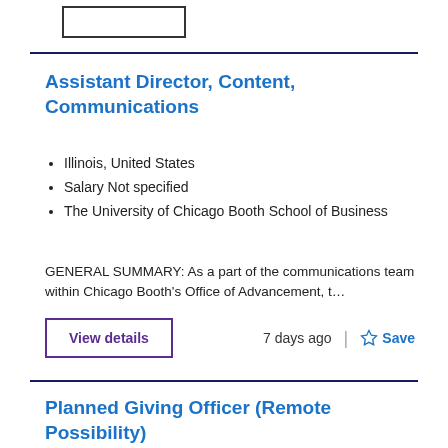Assistant Director, Content, Communications
Illinois, United States
Salary Not specified
The University of Chicago Booth School of Business
GENERAL SUMMARY: As a part of the communications team within Chicago Booth's Office of Advancement, t…
View details   7 days ago   Save
Planned Giving Officer (Remote Possibility)